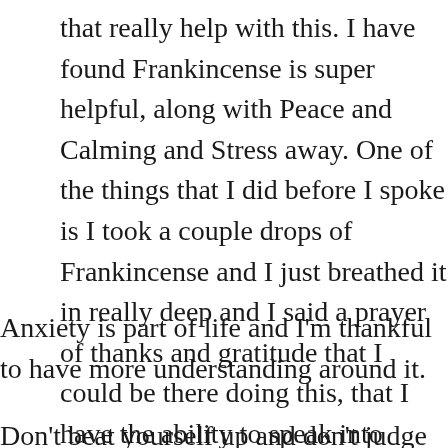that really help with this. I have found Frankincense is super helpful, along with Peace and Calming and Stress away. One of the things that I did before I spoke is I took a couple drops of Frankincense and I just breathed it in really deep and I said a prayer of thanks and gratitude that I could be there doing this, that I have the ability to speak into women's lives.
Anxiety is part of life and I'm thankful to have more understanding around it.
Don't beat yourself up and don't judge yourself. I